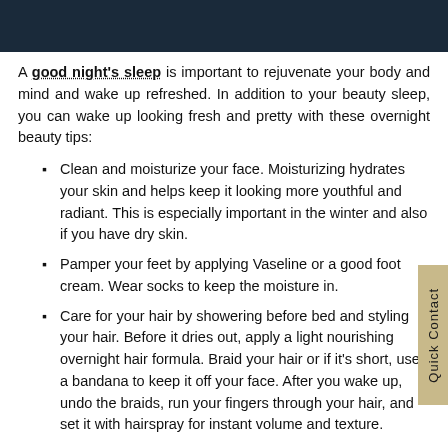[Figure (photo): Dark photo strip at top of page showing a person, dark blue tones]
A good night's sleep is important to rejuvenate your body and mind and wake up refreshed. In addition to your beauty sleep, you can wake up looking fresh and pretty with these overnight beauty tips:
Clean and moisturize your face. Moisturizing hydrates your skin and helps keep it looking more youthful and radiant. This is especially important in the winter and also if you have dry skin.
Pamper your feet by applying Vaseline or a good foot cream. Wear socks to keep the moisture in.
Care for your hair by showering before bed and styling your hair. Before it dries out, apply a light nourishing overnight hair formula. Braid your hair or if it's short, use a bandana to keep it off your face. After you wake up, undo the braids, run your fingers through your hair, and set it with hairspray for instant volume and texture.